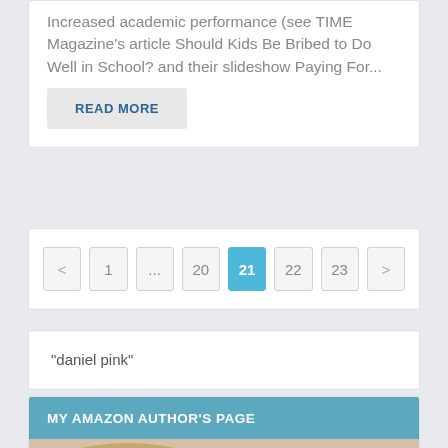Increased academic performance (see TIME Magazine's article Should Kids Be Bribed to Do Well in School? and their slideshow Paying For...
READ MORE
< 1 ... 20 21 22 23 >
“daniel pink”
MY AMAZON AUTHOR’S PAGE
[Figure (photo): Partial photo of a bald man's head]